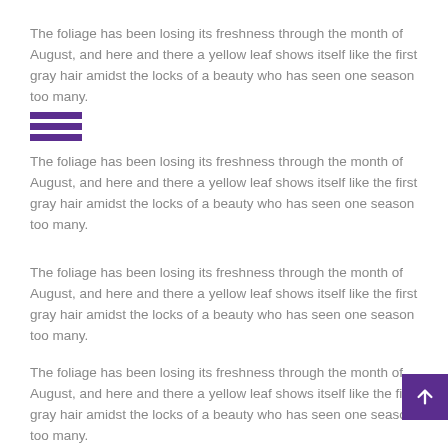The foliage has been losing its freshness through the month of August, and here and there a yellow leaf shows itself like the first gray hair amidst the locks of a beauty who has seen one season too many.
[Figure (other): Hamburger menu icon with three purple horizontal bars]
The foliage has been losing its freshness through the month of August, and here and there a yellow leaf shows itself like the first gray hair amidst the locks of a beauty who has seen one season too many.
The foliage has been losing its freshness through the month of August, and here and there a yellow leaf shows itself like the first gray hair amidst the locks of a beauty who has seen one season too many.
The foliage has been losing its freshness through the month of August, and here and there a yellow leaf shows itself like the first gray hair amidst the locks of a beauty who has seen one season too many.
[Figure (other): Purple scroll-to-top button with upward arrow icon]